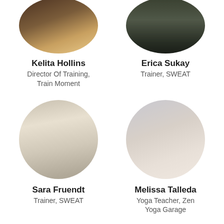[Figure (photo): Circular portrait photo of Kelita Hollins, partially cropped at top]
[Figure (photo): Circular portrait photo of Erica Sukay, partially cropped at top]
Kelita Hollins
Director Of Training, Train Moment
Erica Sukay
Trainer, SWEAT
[Figure (photo): Circular portrait photo of Sara Fruendt with arms raised overhead]
[Figure (photo): Circular portrait photo of Melissa Talleda with hands in prayer position]
Sara Fruendt
Trainer, SWEAT
Melissa Talleda
Yoga Teacher, Zen Yoga Garage
[Figure (photo): Circular portrait photo partially visible at bottom of page]
[Figure (photo): Circular portrait photo partially visible at bottom of page]